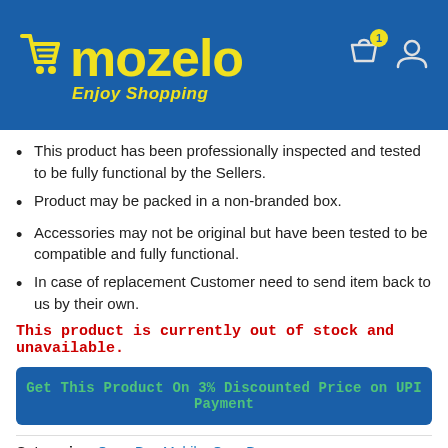mozelo — Enjoy Shopping
This product has been professionally inspected and tested to be fully functional by the Sellers.
Product may be packed in a non-branded box.
Accessories may not be original but have been tested to be compatible and fully functional.
In case of replacement Customer need to send item back to us by their own.
This product is currently out of stock and unavailable.
Get This Product On 3% Discounted Price on UPI Payment
Categories: Open Box Mobile, OpenBox
Tags: Micromax X748, Micromax X748 Black Gold, Micromax X748 Black Gold Mobile, Micromax X748 Mobile